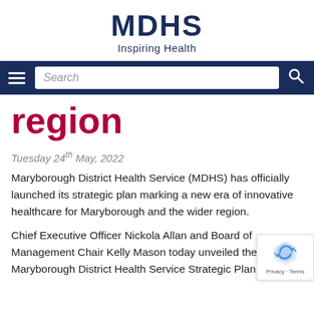MDHS Inspiring Health
[Figure (screenshot): Navigation bar with hamburger menu, search box, and search icon on dark blue background]
region
Tuesday 24th May, 2022
Maryborough District Health Service (MDHS) has officially launched its strategic plan marking a new era of innovative healthcare for Maryborough and the wider region.
Chief Executive Officer Nickola Allan and Board of Management Chair Kelly Mason today unveiled the Maryborough District Health Service Strategic Plan 2 2025.